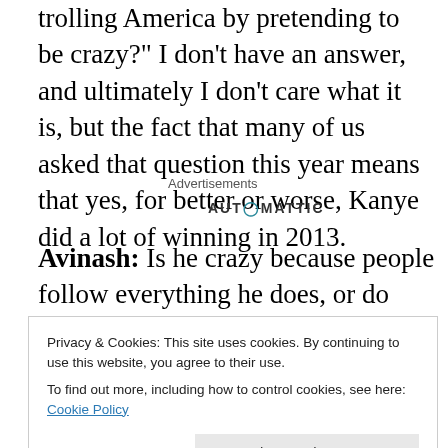trolling America by pretending to be crazy?" I don't have an answer, and ultimately I don't care what it is, but the fact that many of us asked that question this year means that yes, for better or worse, Kanye did a lot of winning in 2013.
Advertisements
AUTOMATTIC
Avinash: Is he crazy because people follow everything he does, or do people follow everything he does because he's
Privacy & Cookies: This site uses cookies. By continuing to use this website, you agree to their use.
To find out more, including how to control cookies, see here: Cookie Policy
Close and accept